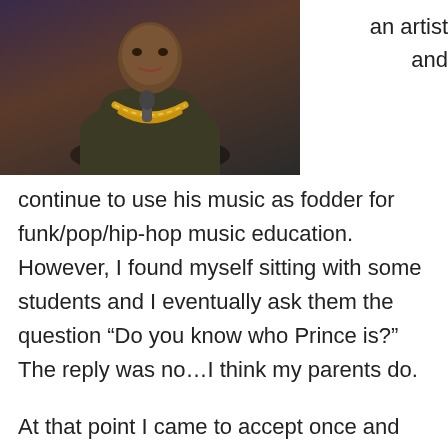[Figure (photo): Photo of a person wearing a gold chain necklace and dark clothing against a purple-dark background]
an artist and
continue to use his music as fodder for funk/pop/hip-hop music education. However, I found myself sitting with some students and I eventually ask them the question “Do you know who Prince is?” The reply was no…I think my parents do.

At that point I came to accept once and for all that I am an “old” person. But enough about me, lets talk about Prince and how I’ve used his music in the past in my classes.